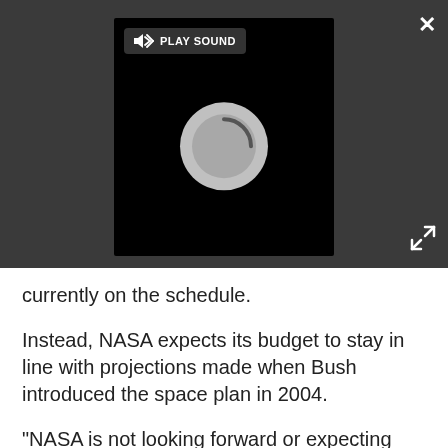[Figure (screenshot): Video player with black background showing a loading spinner (gray circle), a 'PLAY SOUND' button with speaker icon in top-left, a close (×) button in top-right of the outer dark bar, and an expand (arrows) button in bottom-right of the outer dark bar.]
currently on the schedule.
Instead, NASA expects its budget to stay in line with projections made when Bush introduced the space plan in 2004.
"NASA is not looking forward or expecting any gifts of robust growth from either the administration or the Congress," Griffin said. "We expect to keep approximately the funding we have."
That means other projects have to be canceled, cut